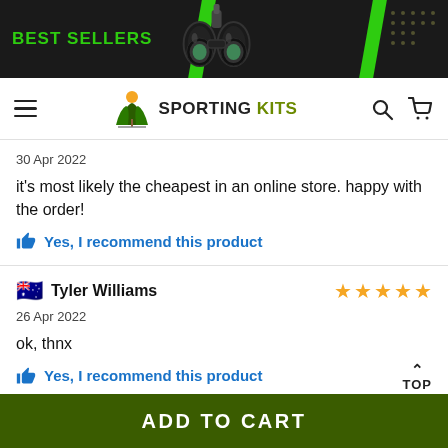[Figure (screenshot): Website banner with 'BEST SELLERS' text in green on dark background with binoculars image and green diagonal stripes]
[Figure (logo): Sporting Kits logo with tree/bird icon, hamburger menu, search and cart icons in navigation bar]
30 Apr 2022
it's most likely the cheapest in an online store. happy with the order!
Yes, I recommend this product
Tyler Williams
26 Apr 2022
ok, thnx
Yes, I recommend this product
ADD TO CART